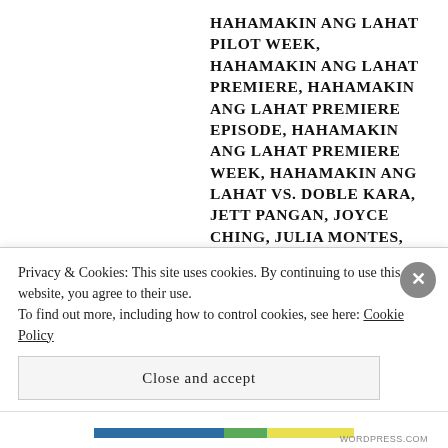HAHAMAKIN ANG LAHAT PILOT WEEK, HAHAMAKIN ANG LAHAT PREMIERE, HAHAMAKIN ANG LAHAT PREMIERE EPISODE, HAHAMAKIN ANG LAHAT PREMIERE WEEK, HAHAMAKIN ANG LAHAT VS. DOBLE KARA, JETT PANGAN, JOYCE CHING, JULIA MONTES, KRISTOFFER MARTIN, MARC ABAYA, MARINA BENIPAYO, MONA LOUISE REY, RAFAEL ROSELL, RENZ VALERIO, RHIAN RAMOS, SINUNGALING MONG PUSO, SINUNGALING MONG PUSO 2016 TV SERIES, SINUNGALING MONG PUSO FINAL EPISODE, SINUNGALING MONG PUSO FINALE, SINUNGALING MONG PUSO GMA, SINUNGALING MONG PUSO LAST EPISODE, SINUGALING...
Privacy & Cookies: This site uses cookies. By continuing to use this website, you agree to their use.
To find out more, including how to control cookies, see here: Cookie Policy
Close and accept